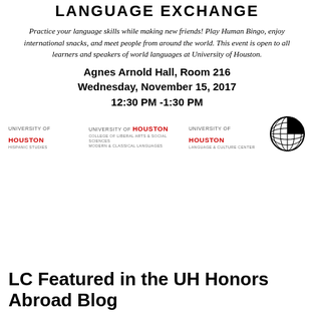LANGUAGE EXCHANGE
Practice your language skills while making new friends! Play Human Bingo, enjoy international snacks, and meet people from around the world. This event is open to all learners and speakers of world languages at University of Houston.
Agnes Arnold Hall, Room 216
Wednesday, November 15, 2017
12:30 PM -1:30 PM
[Figure (logo): University of Houston Hispanic Studies logo, University of Houston College of Liberal Arts & Social Sciences Modern & Classical Languages logo, University of Houston Language & Culture Center logo, and a globe logo]
LC Featured in the UH Honors Abroad Blog